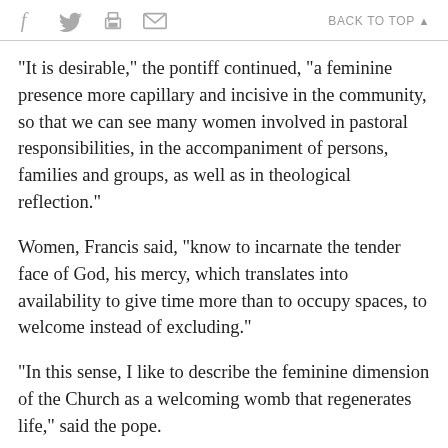f [twitter] [print] [email]  BACK TO TOP ▲
"It is desirable," the pontiff continued, "a feminine presence more capillary and incisive in the community, so that we can see many women involved in pastoral responsibilities, in the accompaniment of persons, families and groups, as well as in theological reflection."
Women, Francis said, "know to incarnate the tender face of God, his mercy, which translates into availability to give time more than to occupy spaces, to welcome instead of excluding."
"In this sense, I like to describe the feminine dimension of the Church as a welcoming womb that regenerates life," said the pope.
The Vatican's Culture council has been hosting a closed-door meeting in Rome this week on the theme